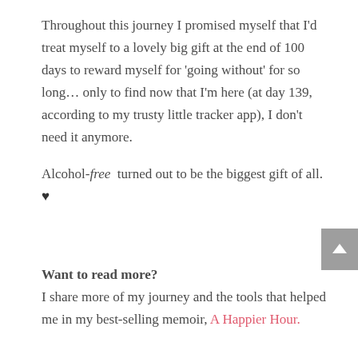Throughout this journey I promised myself that I'd treat myself to a lovely big gift at the end of 100 days to reward myself for 'going without' for so long... only to find now that I'm here (at day 139, according to my trusty little tracker app), I don't need it anymore.
Alcohol-free turned out to be the biggest gift of all. ♥
Want to read more? I share more of my journey and the tools that helped me in my best-selling memoir, A Happier Hour.